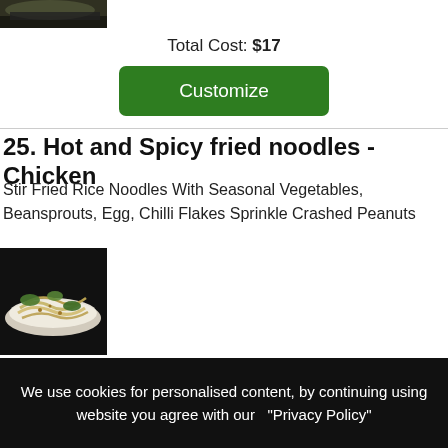[Figure (photo): Partial food photo at top of page, dark background with food visible]
Total Cost: $17
Customize
25. Hot and Spicy fried noodles - Chicken
Stir Fried Rice Noodles With Seasonal Vegetables, Beansprouts, Egg, Chilli Flakes Sprinkle Crashed Peanuts
[Figure (photo): Photo of stir fried noodles dish on a white plate against black background]
Total Cost: $18
Customize
We use cookies for personalised content, by continuing using website you agree with our "Privacy Policy"